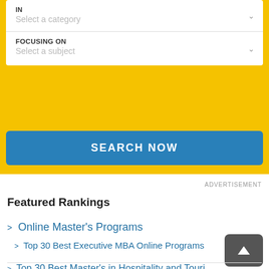IN
Select a category
FOCUSING ON
Select a subject
SEARCH NOW
ADVERTISEMENT
Featured Rankings
> Online Master's Programs
> Top 30 Best Executive MBA Online Programs
> Top 30 Best Master's in Hospitality and Tourism...